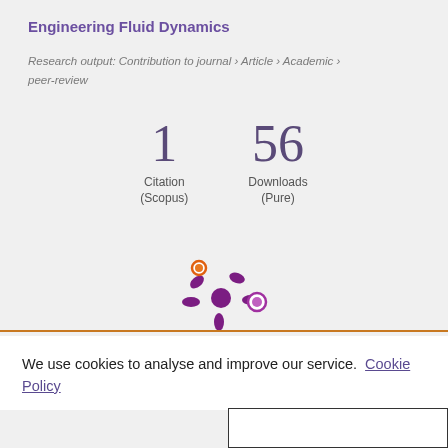Engineering Fluid Dynamics
Research output: Contribution to journal › Article › Academic › peer-review
1 Citation (Scopus)
56 Downloads (Pure)
[Figure (logo): Altmetric logo — purple starburst shape with orange and purple dots]
We use cookies to analyse and improve our service. Cookie Policy